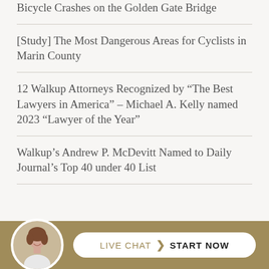Bicycle Crashes on the Golden Gate Bridge
[Study] The Most Dangerous Areas for Cyclists in Marin County
12 Walkup Attorneys Recognized by “The Best Lawyers in America” – Michael A. Kelly named 2023 “Lawyer of the Year”
Walkup’s Andrew P. McDevitt Named to Daily Journal’s Top 40 under 40 List
[Figure (other): Live chat widget with photo of a smiling woman and a button reading LIVE CHAT START NOW on a gold/tan background bar]